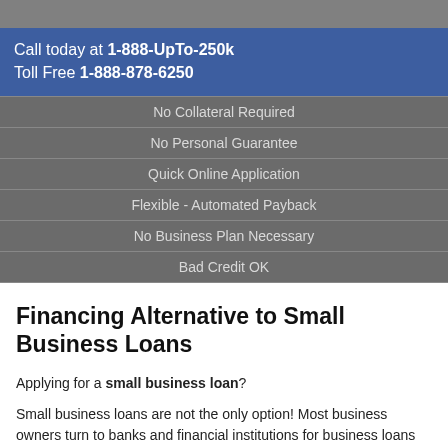Call today at 1-888-UpTo-250k Toll Free 1-888-878-6250
No Collateral Required
No Personal Guarantee
Quick Online Application
Flexible - Automated Payback
No Business Plan Necessary
Bad Credit OK
Financing Alternative to Small Business Loans
Applying for a small business loan?
Small business loans are not the only option! Most business owners turn to banks and financial institutions for business loans (typically